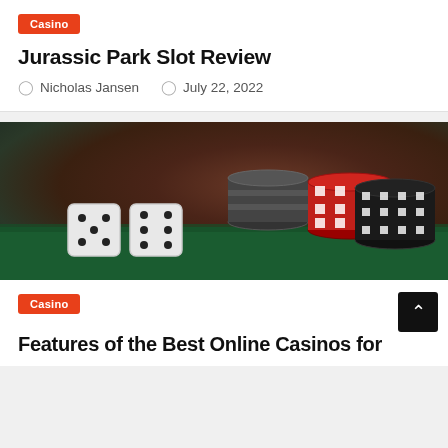Casino
Jurassic Park Slot Review
Nicholas Jansen  July 22, 2022
[Figure (photo): Casino dice and poker chips on a green felt table with dark brown background]
Casino
Features of the Best Online Casinos for